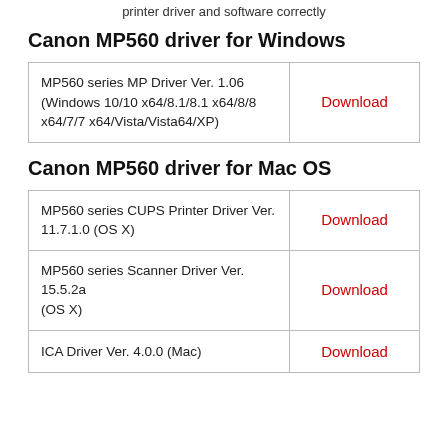printer driver and software correctly
Canon MP560 driver for Windows
| Driver | Action |
| --- | --- |
| MP560 series MP Driver Ver. 1.06 (Windows 10/10 x64/8.1/8.1 x64/8/8 x64/7/7 x64/Vista/Vista64/XP) | Download |
Canon MP560 driver for Mac OS
| Driver | Action |
| --- | --- |
| MP560 series CUPS Printer Driver Ver. 11.7.1.0 (OS X) | Download |
| MP560 series Scanner Driver Ver. 15.5.2a (OS X) | Download |
| ICA Driver Ver. 4.0.0 (Mac) | Download |